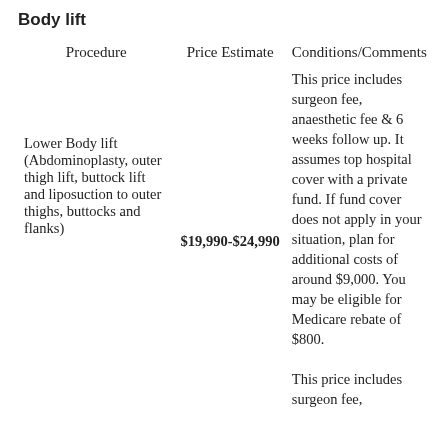Body lift
| Procedure | Price Estimate | Conditions/Comments |
| --- | --- | --- |
| Lower Body lift (Abdominoplasty, outer thigh lift, buttock lift and liposuction to outer thighs, buttocks and flanks) | $19,990-$24,990 | This price includes surgeon fee, anaesthetic fee & 6 weeks follow up. It assumes top hospital cover with a private fund. If fund cover does not apply in your situation, plan for additional costs of around $9,000. You may be eligible for Medicare rebate of $800.
This price includes surgeon fee, |